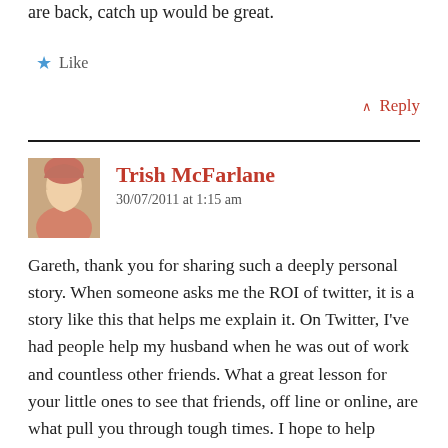are back, catch up would be great.
★ Like
^ Reply
Trish McFarlane
30/07/2011 at 1:15 am
[Figure (photo): Avatar photo of Trish McFarlane, a woman with light hair wearing a floral top]
Gareth, thank you for sharing such a deeply personal story. When someone asks me the ROI of twitter, it is a story like this that helps me explain it. On Twitter, I've had people help my husband when he was out of work and countless other friends. What a great lesson for your little ones to see that friends, off line or online, are what pull you through tough times. I hope to help support you as you embark on this new phase.